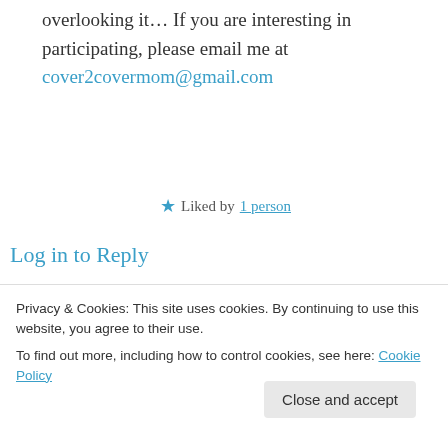overlooking it… If you are interesting in participating, please email me at cover2covermom@gmail.com
★ Liked by 1 person
Log in to Reply
jorobertson2015 on April 8, 2017 at 08:32
I will email you now! My email is very temperamental so I don't tend to give it out
Privacy & Cookies: This site uses cookies. By continuing to use this website, you agree to their use.
To find out more, including how to control cookies, see here: Cookie Policy